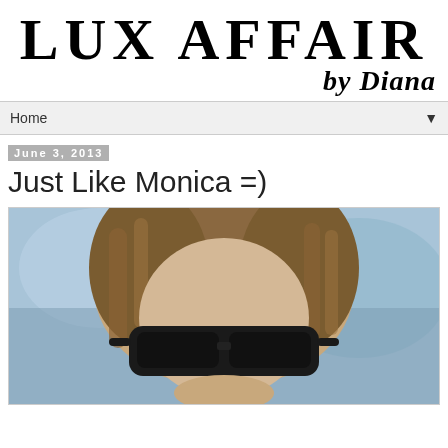LUX AFFAIR by Diana
Home
June 3, 2013
Just Like Monica =)
[Figure (photo): Close-up photo of a young woman with long brown hair wearing dark sunglasses, taken outdoors with a blurred background]